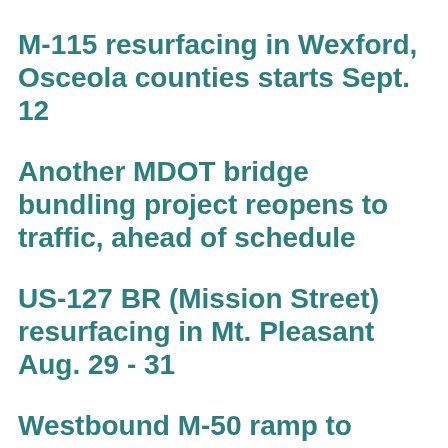M-115 resurfacing in Wexford, Osceola counties starts Sept. 12
Another MDOT bridge bundling project reopens to traffic, ahead of schedule
US-127 BR (Mission Street) resurfacing in Mt. Pleasant Aug. 29 - 31
Westbound M-50 ramp to Oaklane Road in Jackson closed Aug. 29 -